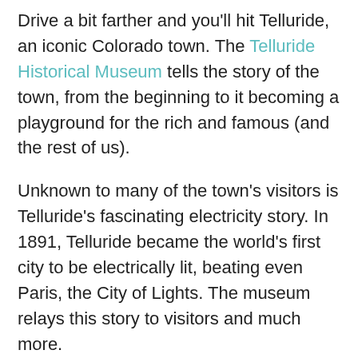Drive a bit farther and you'll hit Telluride, an iconic Colorado town. The Telluride Historical Museum tells the story of the town, from the beginning to it becoming a playground for the rich and famous (and the rest of us).
Unknown to many of the town's visitors is Telluride's fascinating electricity story. In 1891, Telluride became the world's first city to be electrically lit, beating even Paris, the City of Lights. The museum relays this story to visitors and much more.
For those interested in learning about electricity's sometimes shocking beginnings, The Current Wars, starring Benedict Cumberbatch, hits theaters October 25.